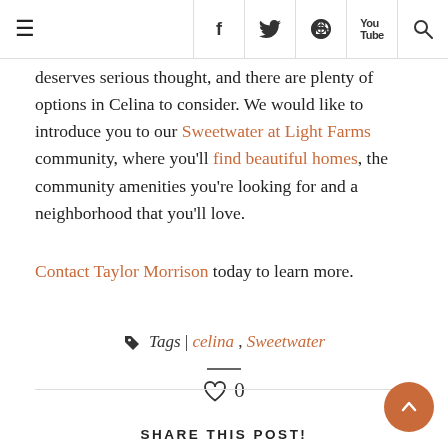≡  f  🐦  ⓟ  ▶  🔍
deserves serious thought, and there are plenty of options in Celina to consider. We would like to introduce you to our Sweetwater at Light Farms community, where you'll find beautiful homes, the community amenities you're looking for and a neighborhood that you'll love.
Contact Taylor Morrison today to learn more.
Tags | celina , Sweetwater
♡ 0
SHARE THIS POST!